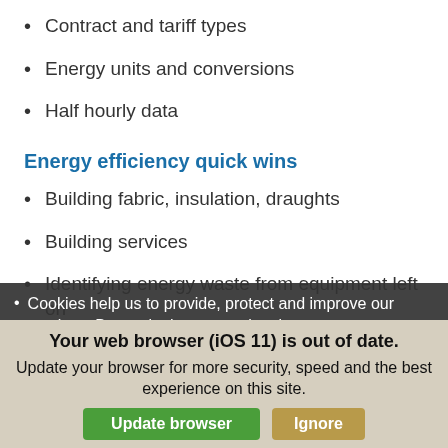Contract and tariff types
Energy units and conversions
Half hourly data
Energy efficiency quick wins
Building fabric, insulation, draughts
Building services
Identifying energy waste from equipment left on
Compressed air systems
Cookies help us to provide, protect and improve our services. By continuing to use the site you agree to our privacy policy.
Your web browser (iOS 11) is out of date. Update your browser for more security, speed and the best experience on this site.